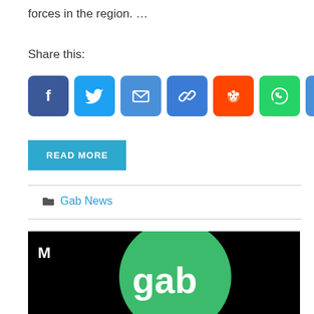forces in the region. …
Share this:
[Figure (other): Social sharing icon buttons: Facebook (blue), Twitter (blue), Email (blue), Link (blue), Reddit (orange-red), WhatsApp (green), More/Plus (blue)]
READ MORE
Gab News
[Figure (logo): Gab social network logo: green circle with white 'gab' text on black background]